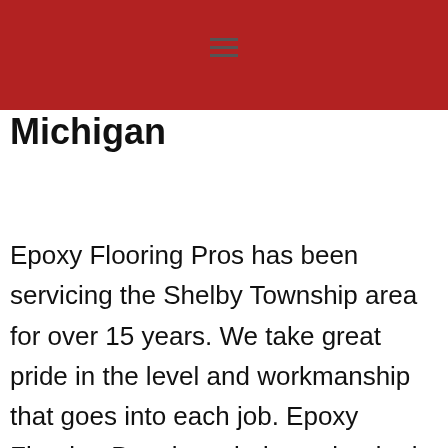Michigan
Epoxy Flooring Pros has been servicing the Shelby Township area for over 15 years. We take great pride in the level and workmanship that goes into each job. Epoxy Flooring Pros is an industry leader in residential, commercial, and industrial epoxy floor covering solutions. Epoxy Flooring Pros prides itself on delivering quality